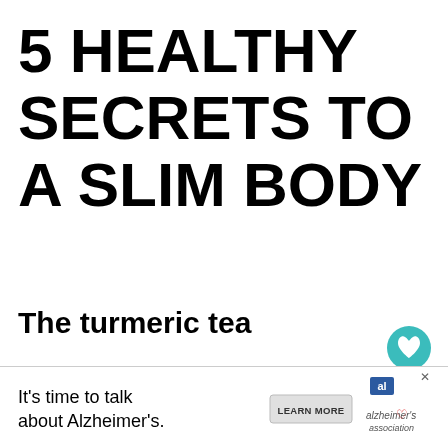5 HEALTHY SECRETS TO A SLIM BODY
The turmeric tea
If you are someone who is fond of tea, and literally consumes litres of te day, turmeric drink can help satisfy your cr drop th
[Figure (infographic): Heart/like button (teal circle with heart icon), like count '1', and share button]
[Figure (infographic): WHAT'S NEXT arrow panel with thumbnail image and text 'Healthy Coleslaw –...']
[Figure (infographic): Advertisement banner: It's time to talk about Alzheimer's. LEARN MORE. al logo. alzheimer's association.]